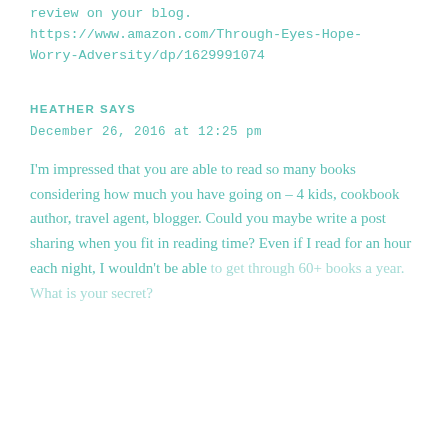review on your blog.
https://www.amazon.com/Through-Eyes-Hope-Worry-Adversity/dp/1629991074
HEATHER SAYS
December 26, 2016 at 12:25 pm
I'm impressed that you are able to read so many books considering how much you have going on – 4 kids, cookbook author, travel agent, blogger. Could you maybe write a post sharing when you fit in reading time? Even if I read for an hour each night, I wouldn't be able to get through 60+ books a year. What is your secret?